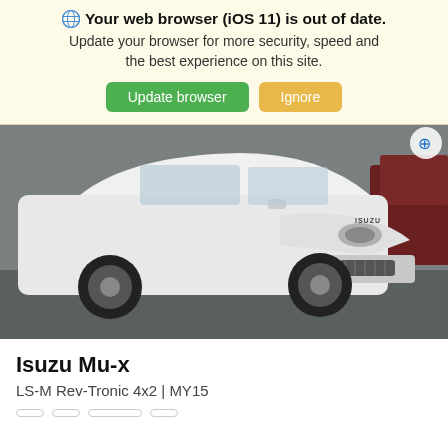🌐 Your web browser (iOS 11) is out of date. Update your browser for more security, speed and the best experience on this site. [Update browser] [Ignore]
[Figure (photo): Photo of a white Isuzu MU-X SUV parked on a wet surface, viewed from front-left angle. A dark red vehicle is partially visible on the right.]
Isuzu Mu-x
LS-M Rev-Tronic 4x2 | MY15